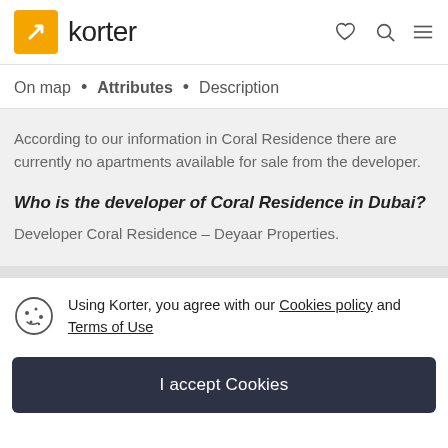korter
On map • Attributes • Description
According to our information in Coral Residence there are currently no apartments available for sale from the developer.
Who is the developer of Coral Residence in Dubai?
Developer Coral Residence – Deyaar Properties.
Using Korter, you agree with our Cookies policy and Terms of Use
I accept Cookies